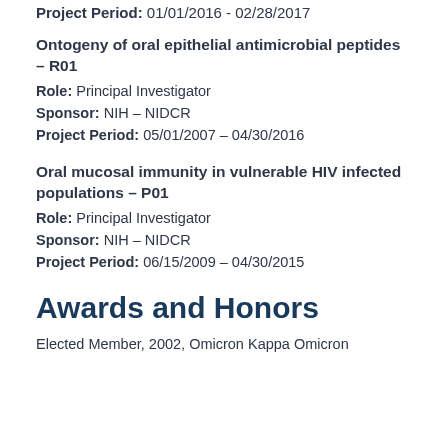Project Period: 01/01/2016 - 02/28/2017
Ontogeny of oral epithelial antimicrobial peptides – R01
Role: Principal Investigator
Sponsor: NIH – NIDCR
Project Period: 05/01/2007 – 04/30/2016
Oral mucosal immunity in vulnerable HIV infected populations – P01
Role: Principal Investigator
Sponsor: NIH – NIDCR
Project Period: 06/15/2009 – 04/30/2015
Awards and Honors
Elected Member, 2002, Omicron Kappa Omicron